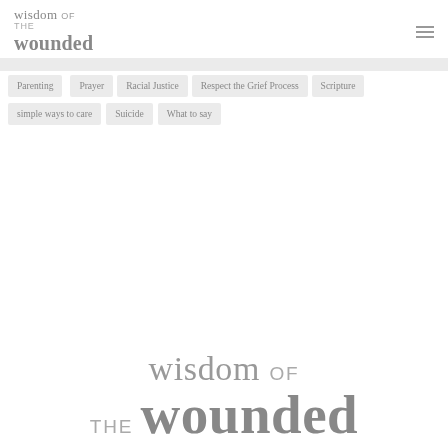wisdom of the wounded
Parenting
Prayer
Racial Justice
Respect the Grief Process
Scripture
simple ways to care
Suicide
What to say
wisdom of the wounded